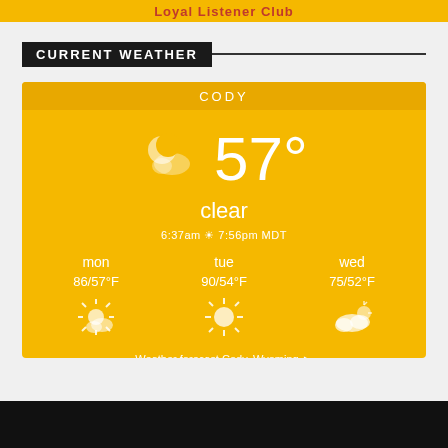Loyal Listener Club
CURRENT WEATHER
[Figure (infographic): Current weather widget for Cody, Wyoming. Shows 57° clear, sunrise 6:37am sunset 7:56pm MDT. Forecast: mon 86/57°F partly cloudy, tue 90/54°F sunny, wed 75/52°F cloudy. Link: Weather forecast Cody, Wyoming ►]